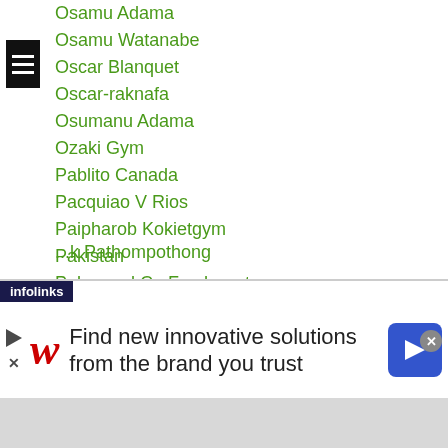Osamu Adama
Osamu Watanabe
Oscar Blanquet
Oscar-raknafa
Osumanu Adama
Ozaki Gym
Pablito Canada
Pacquiao V Rios
Paipharob Kokietgym
Pakistan
Palangpol Cp Freshmart
Panomroonglek Kaiyanghadaogym
Panya Pradabsri
Paravi
Parinya Khaikanha
Patomsith Pathompothong
...k Pathompothong
[Figure (screenshot): Walgreens advertisement banner: 'Find new innovative solutions from the brand you trust' with infolinks label and navigation arrow icon]